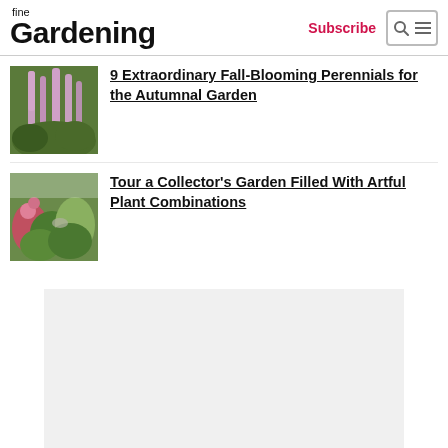fine Gardening | Subscribe
[Figure (photo): Pink flowering tall plants (astilbe/bugbane) in a garden setting]
9 Extraordinary Fall-Blooming Perennials for the Autumnal Garden
[Figure (photo): Colorful mixed garden border with flowering shrubs and perennials]
Tour a Collector's Garden Filled With Artful Plant Combinations
[Figure (other): Advertisement placeholder gray rectangle]